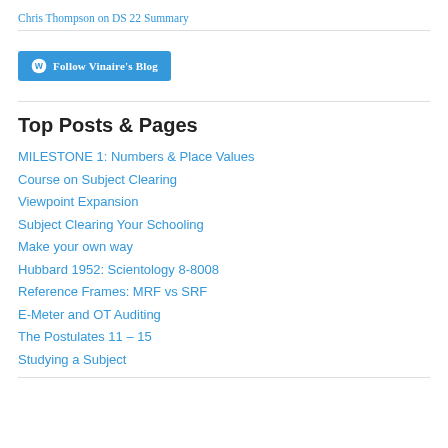Chris Thompson on DS 22 Summary
[Figure (other): WordPress Follow Vinaire's Blog button]
Top Posts & Pages
MILESTONE 1: Numbers & Place Values
Course on Subject Clearing
Viewpoint Expansion
Subject Clearing Your Schooling
Make your own way
Hubbard 1952: Scientology 8-8008
Reference Frames: MRF vs SRF
E-Meter and OT Auditing
The Postulates 11 – 15
Studying a Subject